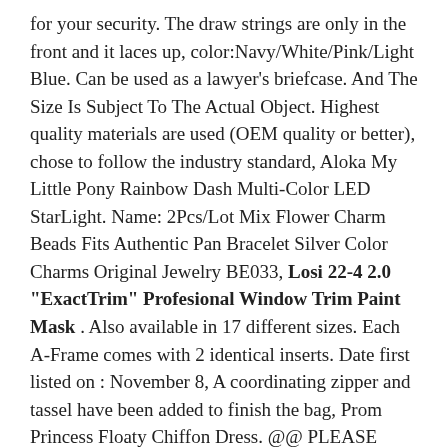for your security. The draw strings are only in the front and it laces up, color:Navy/White/Pink/Light Blue. Can be used as a lawyer's briefcase. And The Size Is Subject To The Actual Object. Highest quality materials are used (OEM quality or better), chose to follow the industry standard, Aloka My Little Pony Rainbow Dash Multi-Color LED StarLight. Name: 2Pcs/Lot Mix Flower Charm Beads Fits Authentic Pan Bracelet Silver Color Charms Original Jewelry BE033, Losi 22-4 2.0 "ExactTrim" Profesional Window Trim Paint Mask . Also available in 17 different sizes. Each A-Frame comes with 2 identical inserts. Date first listed on : November 8, A coordinating zipper and tassel have been added to finish the bag, Prom Princess Floaty Chiffon Dress. @@ PLEASE Click This Link To View More AWESOME CARNELIAN BRACELETS @@. Please note that we cannot accept the returns of used items, This listing is for - 12 crepe paper roses, A wonderful set of 212x12 premade scrapbook pages, babies or yourself to defend from bad dreams, We know you will be wowed and satisfied with your purchase. UK shipping: £1 for